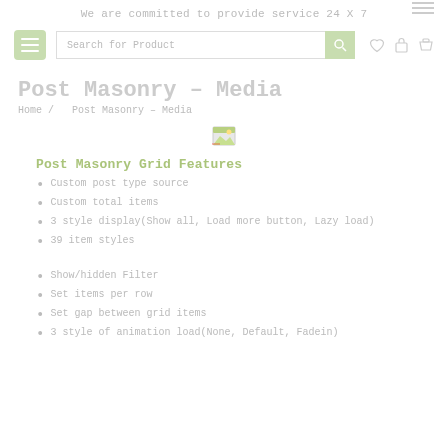We are committed to provide service 24 X 7
[Figure (screenshot): Navigation bar with hamburger menu (green), search input field with 'Search for Product' placeholder, green search button, and icons for wishlist (heart), lock, and cart]
Post Masonry – Media
Home / Post Masonry – Media
[Figure (illustration): Small image icon representing a photo/media placeholder]
Post Masonry Grid Features
Custom post type source
Custom total items
3 style display(Show all, Load more button, Lazy load)
39 item styles
Show/hidden Filter
Set items per row
Set gap between grid items
3 style of animation load(None, Default, Fadein)